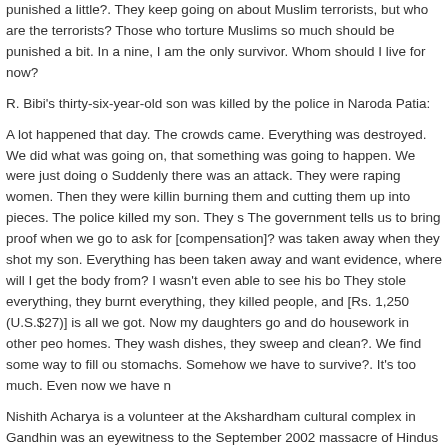punished a little?. They keep going on about Muslim terrorists, but who are the terrorists? Those who torture Muslims so much should be punished a bit. In a nine, I am the only survivor. Whom should I live for now?
R. Bibi's thirty-six-year-old son was killed by the police in Naroda Patia:
A lot happened that day. The crowds came. Everything was destroyed. We did what was going on, that something was going to happen. We were just doing o Suddenly there was an attack. They were raping women. Then they were killin burning them and cutting them up into pieces. The police killed my son. They s The government tells us to bring proof when we go to ask for [compensation]? was taken away when they shot my son. Everything has been taken away and want evidence, where will I get the body from? I wasn't even able to see his bo They stole everything, they burnt everything, they killed people, and [Rs. 1,250 (U.S.$27)] is all we got. Now my daughters go and do housework in other peo homes. They wash dishes, they sweep and clean?. We find some way to fill ou stomachs. Somehow we have to survive?. It's too much. Even now we have n
Nishith Acharya is a volunteer at the Akshardham cultural complex in Gandhin was an eyewitness to the September 2002 massacre of Hindus there:
They threw something inside, a grenade, into the bookstore. By God's grace it explode in the bookstore. One middle-aged lady tried to come out. They fired o